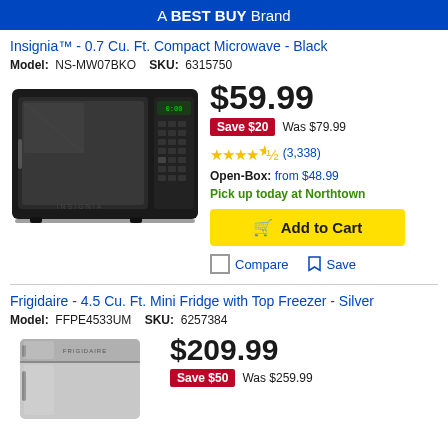A BEST BUY Brand
Insignia™ - 0.7 Cu. Ft. Compact Microwave - Black
Model: NS-MW07BKO  SKU: 6315750
[Figure (photo): Insignia compact microwave, black, shown from front-left angle]
$59.99
Save $20  Was $79.99
★★★★½ (3,338)
Open-Box: from $48.99
Pick up today at Northtown
Add to Cart
Compare  Save
Frigidaire - 4.5 Cu. Ft. Mini Fridge with Top Freezer - Silver
Model: FFPE4533UM  SKU: 6257384
[Figure (photo): Frigidaire mini fridge with top freezer, silver, partial view]
$209.99
Save $50  Was $259.99